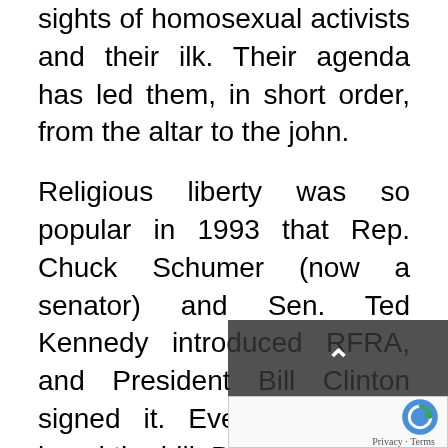sights of homosexual activists and their ilk. Their agenda has led them, in short order, from the altar to the john.
Religious liberty was so popular in 1993 that Rep. Chuck Schumer (now a senator) and Sen. Ted Kennedy introduced RFRA, and President Bill Clinton signed it. Even the ACLU loved the bill. But now liberals hate it.
What broke? Kennedy and Scott, and the ACLU, say that RFRA (and laws like it in the states) has been “misconstrued,” and is being used against men who feel they’re a wo… and vice versa. The logic is not easy to follow...